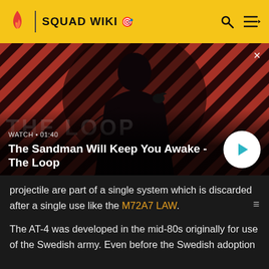SQUAD WIKI
[Figure (screenshot): Video thumbnail showing a dark-clad man with a bird on his shoulder against a red and black diagonal striped background, with text 'THE LOOP' overlaid. Video preview for 'The Sandman Will Keep You Awake - The Loop', labeled WATCH • 01:40, with a play button.]
projectile are part of a single system which is discarded after a single use like the M72A7 LAW.
The AT-4 was developed in the mid-80s originally for use of the Swedish army. Even before the Swedish adoption